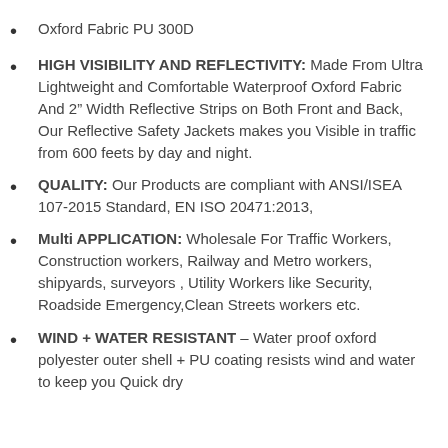Oxford Fabric PU 300D
HIGH VISIBILITY AND REFLECTIVITY: Made From Ultra Lightweight and Comfortable Waterproof Oxford Fabric And 2″ Width Reflective Strips on Both Front and Back, Our Reflective Safety Jackets makes you Visible in traffic from 600 feets by day and night.
QUALITY: Our Products are compliant with ANSI/ISEA 107-2015 Standard, EN ISO 20471:2013,
Multi APPLICATION: Wholesale For Traffic Workers, Construction workers, Railway and Metro workers, shipyards, surveyors , Utility Workers like Security, Roadside Emergency,Clean Streets workers etc.
WIND + WATER RESISTANT – Water proof oxford polyester outer shell + PU coating resists wind and water to keep you Quick dry